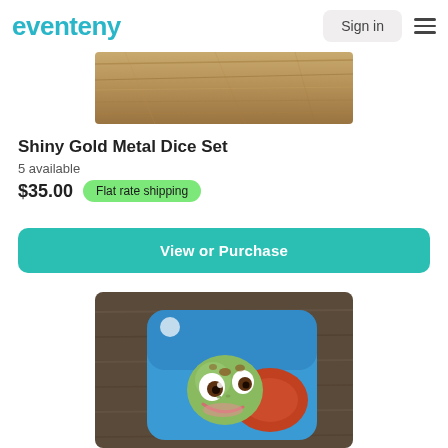eventeny  Sign in
[Figure (photo): Close-up photo of shiny gold metal dice on a wooden surface, showing the top portion of the product image]
Shiny Gold Metal Dice Set
5 available
$35.00  Flat rate shipping
View or Purchase
[Figure (photo): Photo of a cartoon sea turtle coaster/mat with a smiling baby turtle face on a blue background, placed on a wooden surface]